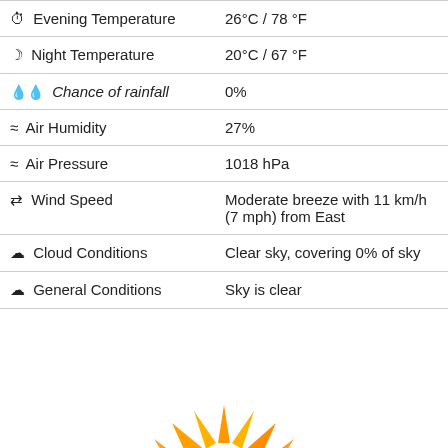| ⊙ Evening Temperature | 26°C / 78 °F |
| ☽ Night Temperature | 20°C / 67 °F |
| 💧 Chance of rainfall | 0% |
| ≈ Air Humidity | 27% |
| ≈ Air Pressure | 1018 hPa |
| ⇄ Wind Speed | Moderate breeze with 11 km/h (7 mph) from East |
| ☁ Cloud Conditions | Clear sky, covering 0% of sky |
| ☁ General Conditions | Sky is clear |
[Figure (illustration): Bright sun illustration with yellow and orange rays, partially cropped at bottom of page]